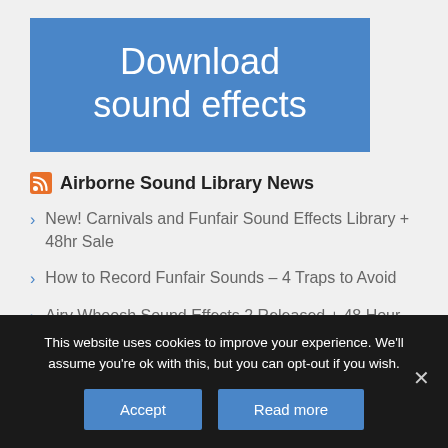Download sound effects
Airborne Sound Library News
New! Carnivals and Funfair Sound Effects Library + 48hr Sale
How to Record Funfair Sounds – 4 Traps to Avoid
Airy Whoosh Sound Effects 2 Released + 48 Hour Deal
This website uses cookies to improve your experience. We'll assume you're ok with this, but you can opt-out if you wish.